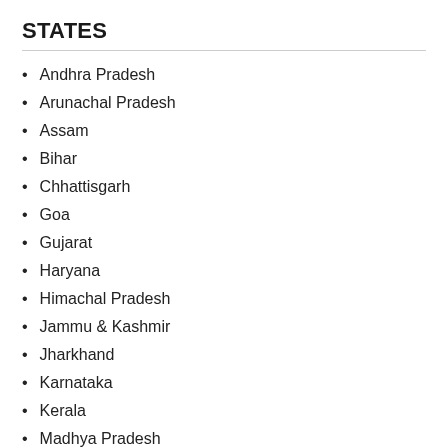STATES
Andhra Pradesh
Arunachal Pradesh
Assam
Bihar
Chhattisgarh
Goa
Gujarat
Haryana
Himachal Pradesh
Jammu & Kashmir
Jharkhand
Karnataka
Kerala
Madhya Pradesh
Maharashtra
Manipur
Meghalaya
Mizoram